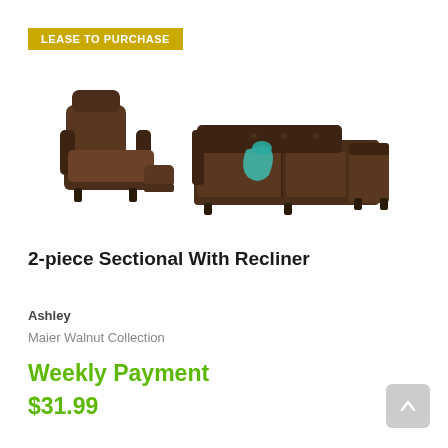LEASE TO PURCHASE
[Figure (photo): Product photo showing a dark brown recliner chair alongside a 2-piece dark brown sectional sofa with chaise, with a teal accent pillow/throw.]
2-piece Sectional With Recliner
Ashley
Maier Walnut Collection
Weekly Payment $31.99